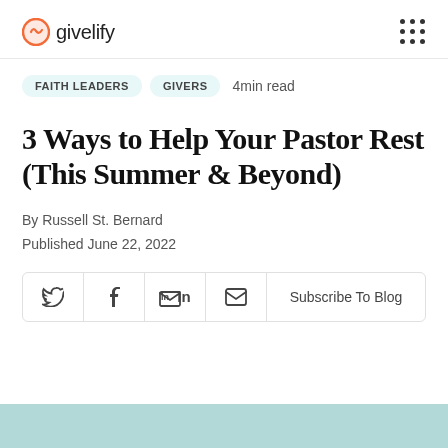givelify
FAITH LEADERS  GIVERS  4min read
3 Ways to Help Your Pastor Rest (This Summer & Beyond)
By Russell St. Bernard
Published June 22, 2022
Twitter  Facebook  LinkedIn  Email  Subscribe To Blog